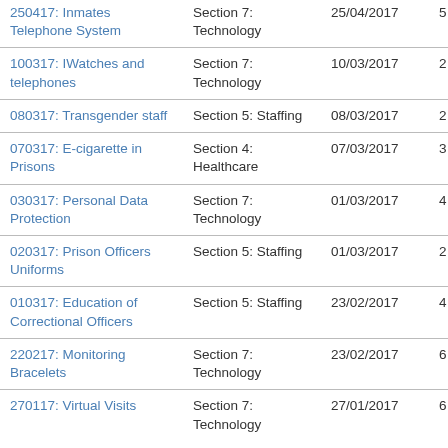| 250417: Inmates Telephone System | Section 7: Technology | 25/04/2017 | 5 |
| 100317: IWatches and telephones | Section 7: Technology | 10/03/2017 | 2 |
| 080317: Transgender staff | Section 5: Staffing | 08/03/2017 | 2 |
| 070317: E-cigarette in Prisons | Section 4: Healthcare | 07/03/2017 | 3 |
| 030317: Personal Data Protection | Section 7: Technology | 01/03/2017 | 4 |
| 020317: Prison Officers Uniforms | Section 5: Staffing | 01/03/2017 | 2 |
| 010317: Education of Correctional Officers | Section 5: Staffing | 23/02/2017 | 4 |
| 220217: Monitoring Bracelets | Section 7: Technology | 23/02/2017 | 6 |
| 270117: Virtual Visits | Section 7: Technology | 27/01/2017 | 6 |